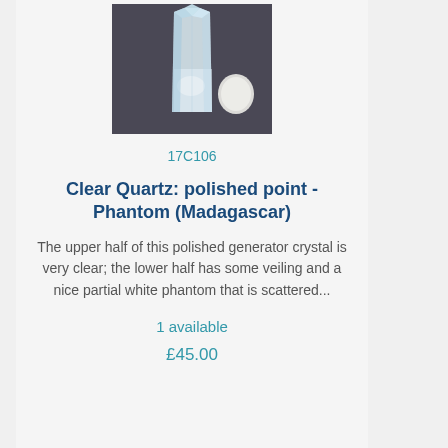[Figure (photo): Clear quartz polished point crystal standing upright next to a small white coin/disc for scale, on a dark blue-grey background.]
17C106
Clear Quartz: polished point - Phantom (Madagascar)
The upper half of this polished generator crystal is very clear; the lower half has some veiling and a nice partial white phantom that is scattered...
1 available
£45.00